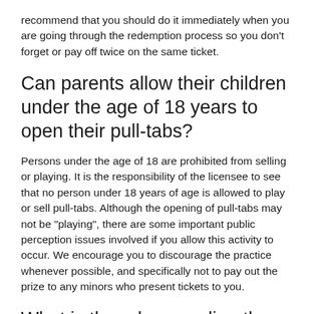recommend that you should do it immediately when you are going through the redemption process so you don't forget or pay off twice on the same ticket.
Can parents allow their children under the age of 18 years to open their pull-tabs?
Persons under the age of 18 are prohibited from selling or playing. It is the responsibility of the licensee to see that no person under 18 years of age is allowed to play or sell pull-tabs. Although the opening of pull-tabs may not be "playing", there are some important public perception issues involved if you allow this activity to occur. We encourage you to discourage the practice whenever possible, and specifically not to pay out the prize to any minors who present tickets to you.
What is the rule regarding the proper